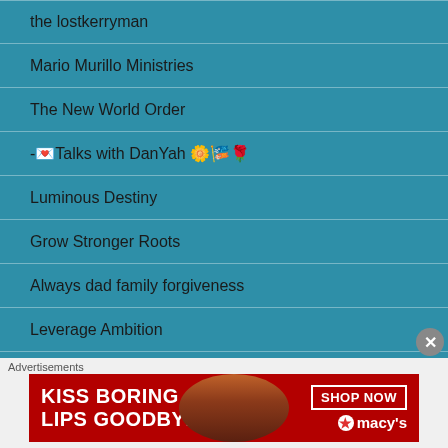the lostkerryman
Mario Murillo Ministries
The New World Order
-💌Talks with DanYah 🌼🎏🌹
Luminous Destiny
Grow Stronger Roots
Always dad family forgiveness
Leverage Ambition
TADRA LIVING
mycoffeeandencouragingconversation.wordpress.com/
[Figure (infographic): Macy's advertisement banner: 'KISS BORING LIPS GOODBYE' with SHOP NOW button and Macy's logo on red background with a woman's photo]
Advertisements